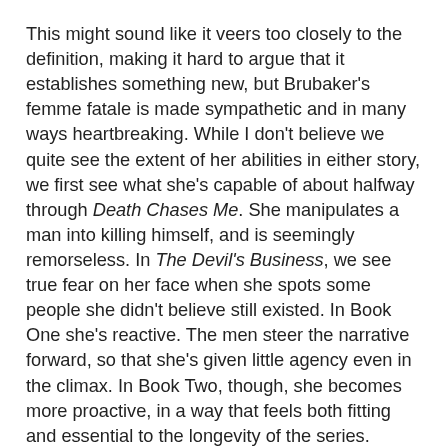This might sound like it veers too closely to the definition, making it hard to argue that it establishes something new, but Brubaker's femme fatale is made sympathetic and in many ways heartbreaking. While I don't believe we quite see the extent of her abilities in either story, we first see what she's capable of about halfway through Death Chases Me. She manipulates a man into killing himself, and is seemingly remorseless. In The Devil's Business, we see true fear on her face when she spots some people she didn't believe still existed. In Book One she's reactive. The men steer the narrative forward, so that she's given little agency even in the climax. In Book Two, though, she becomes more proactive, in a way that feels both fitting and essential to the longevity of the series.
Walt Booker is the second-most fascinating character in Death Chases Me. He's an abusive and crooked detective who was once a soldier. Very early on, he's made out as a villain, but the further we go the more we learn. He and Jo's relationship is far deeper than first assumed, and it's a more subtle example of Brubaker's willingness to play around with